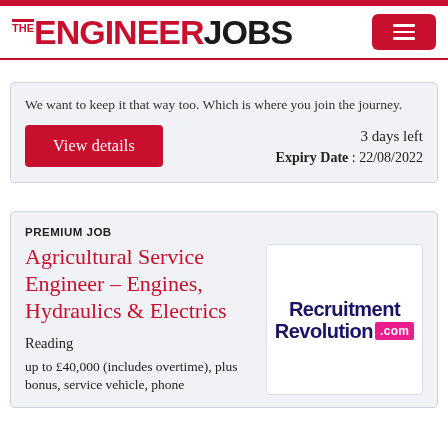THE ENGINEER JOBS
We want to keep it that way too. Which is where you join the journey.
3 days left
Expiry Date : 22/08/2022
View details
PREMIUM JOB
Agricultural Service Engineer – Engines, Hydraulics & Electrics
[Figure (logo): Recruitment Revolution .com logo in dark blue with pink .com badge]
Reading
up to £40,000 (includes overtime), plus bonus, service vehicle, phone